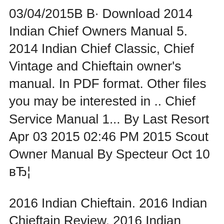03/04/2015В В· Download 2014 Indian Chief Owners Manual 5. 2014 Indian Chief Classic, Chief Vintage and Chieftain owner's manual. In PDF format. Other files you may be interested in .. Chief Service Manual 1... By Last Resort Apr 03 2015 02:46 PM 2015 Scout Owner Manual By Specteur Oct 10 вЂ¦
2016 Indian Chieftain. 2016 Indian Chieftain Review. 2016 Indian Chieftain on www.Totalmotorcycle.com. In touch with its past, but far ahead of its timesвЂ¦ This powerful, versatile, next-generation bagger treats riders to a hint of tradition and a strong dose of distinctive attitude. 2016 Indian